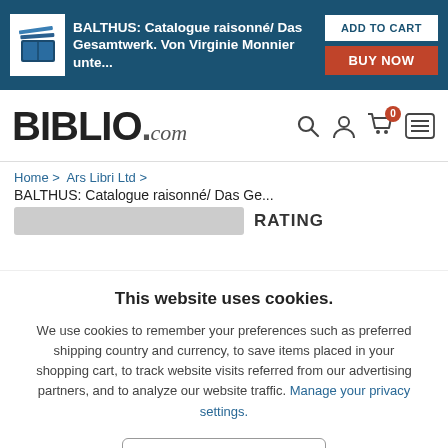[Figure (screenshot): Biblio.com website screenshot showing a top banner for BALTHUS book with Add to Cart and Buy Now buttons, navigation bar with Biblio.com logo, breadcrumb navigation, and a cookie consent overlay]
BALTHUS: Catalogue raisonné/ Das Gesamtwerk. Von Virginie Monnier unte...
ADD TO CART
BUY NOW
BIBLIO.com
Home > Ars Libri Ltd >
BALTHUS: Catalogue raisonné/ Das Ge...
This website uses cookies.
We use cookies to remember your preferences such as preferred shipping country and currency, to save items placed in your shopping cart, to track website visits referred from our advertising partners, and to analyze our website traffic. Manage your privacy settings.
AGREE AND CLOSE